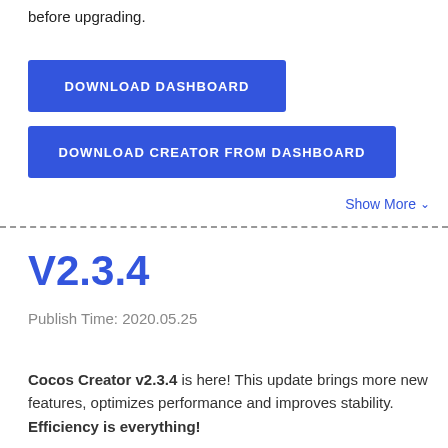before upgrading.
[Figure (other): Blue button labeled DOWNLOAD DASHBOARD]
[Figure (other): Blue button labeled DOWNLOAD CREATOR FROM DASHBOARD]
Show More ∨
V2.3.4
Publish Time: 2020.05.25
Cocos Creator v2.3.4 is here! This update brings more new features, optimizes performance and improves stability. Efficiency is everything!